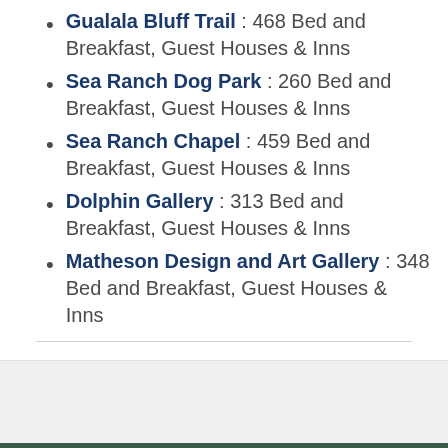Gualala Bluff Trail : 468 Bed and Breakfast, Guest Houses & Inns
Sea Ranch Dog Park : 260 Bed and Breakfast, Guest Houses & Inns
Sea Ranch Chapel : 459 Bed and Breakfast, Guest Houses & Inns
Dolphin Gallery : 313 Bed and Breakfast, Guest Houses & Inns
Matheson Design and Art Gallery : 348 Bed and Breakfast, Guest Houses & Inns
See all offers